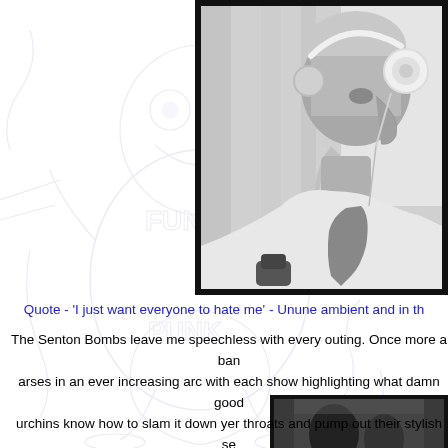[Figure (photo): Background sketch/watermark illustration of cartoon punk characters with text 'FUNK' and 'PUN' visible, in light blue/purple tones]
[Figure (photo): Black and white photograph of an older bearded man wearing white headphones, shown in profile view, with a microphone visible]
Quote - 'I just want everyone to hate me' - Unune ambient and in th
The Senton Bombs leave me speechless with every outing. Once more a ban arses in an ever increasing arc with each show highlighting what damn good urchins know how to slam it down yer throats and pump out their stylish se devilish disease that will forever peck at your sonic soak
[Figure (photo): Black and white photograph at bottom right, partially visible, showing dark silhouettes]